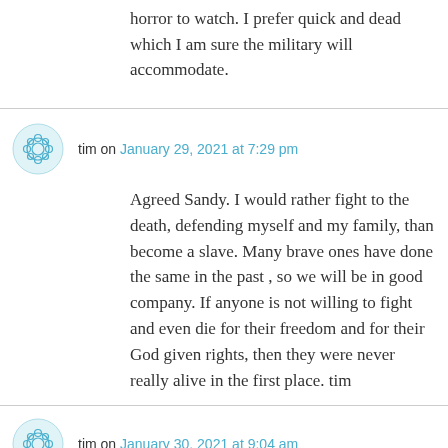horror to watch. I prefer quick and dead which I am sure the military will accommodate.
tim on January 29, 2021 at 7:29 pm
Agreed Sandy. I would rather fight to the death, defending myself and my family, than become a slave. Many brave ones have done the same in the past , so we will be in good company. If anyone is not willing to fight and even die for their freedom and for their God given rights, then they were never really alive in the first place. tim
tim on January 30, 2021 at 9:04 am